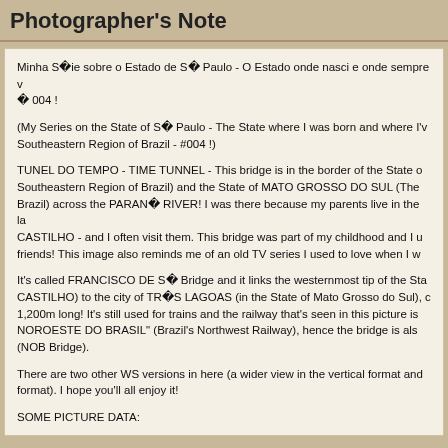Photographer's Note
Minha S￾ie sobre o Estado de S� Paulo - O Estado onde nasci e onde sempre v� 004 !
(My Series on the State of S� Paulo - The State where I was born and where I've Southeastern Region of Brazil - #004 !)
TUNEL DO TEMPO - TIME TUNNEL - This bridge is in the border of the State of Southeastern Region of Brazil) and the State of MATO GROSSO DO SUL (The Brazil) across the PARAN� RIVER! I was there because my parents live in the la CASTILHO - and I often visit them. This bridge was part of my childhood and I u friends! This image also reminds me of an old TV series I used to love when I w
It's called FRANCISCO DE S� Bridge and it links the westernmost tip of the Sta CASTILHO) to the city of TR�S LAGOAS (in the State of Mato Grosso do Sul), d 1,200m long! It's still used for trains and the railway that's seen in this picture is NOROESTE DO BRASIL" (Brazil's Northwest Railway), hence the bridge is also (NOB Bridge).
There are two other WS versions in here (a wider view in the vertical format and format). I hope you'll all enjoy it!
SOME PICTURE DATA:
Make: NIKON CORPORATION
Model: NIKON D80
Software: Picasa 3.0
Exposure Time: 10/3200 sec